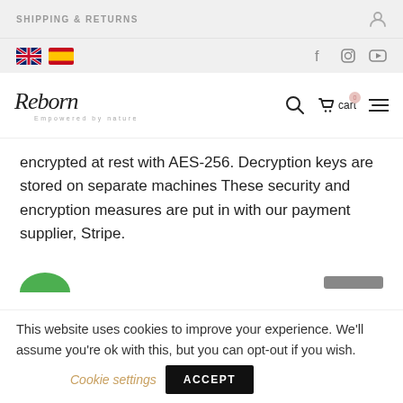SHIPPING & RETURNS
[Figure (screenshot): Flag icons for UK and Spain, and social media icons for Facebook, Instagram, YouTube]
[Figure (logo): Reborn logo with cursive script and tagline 'Empowered by nature', with search, cart, and menu icons]
encrypted at rest with AES-256. Decryption keys are stored on separate machines These security and encryption measures are put in with our payment supplier, Stripe.
This website uses cookies to improve your experience. We'll assume you're ok with this, but you can opt-out if you wish.
Cookie settings
ACCEPT